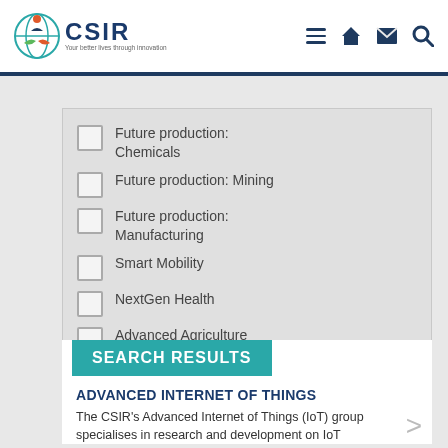CSIR
Future production: Chemicals
Future production: Mining
Future production: Manufacturing
Smart Mobility
NextGen Health
Advanced Agriculture and Food
SEARCH RESULTS
ADVANCED INTERNET OF THINGS
The CSIR's Advanced Internet of Things (IoT) group specialises in research and development on IoT